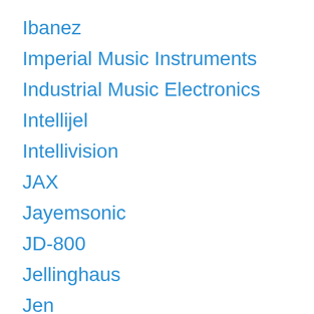Ibanez
Imperial Music Instruments
Industrial Music Electronics
Intellijel
Intellivision
JAX
Jayemsonic
JD-800
Jellinghaus
Jen
JHS
JL Cooper
Jomox